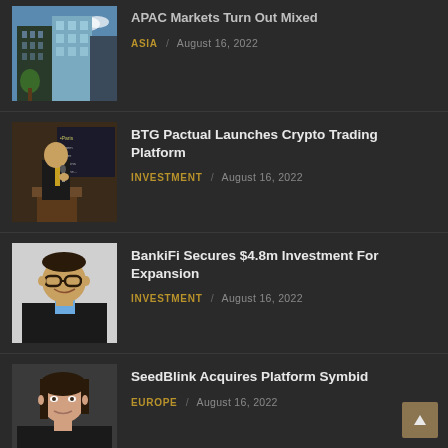APAC Markets Turn Out Mixed | ASIA / August 16, 2022
BTG Pactual Launches Crypto Trading Platform | INVESTMENT / August 16, 2022
BankiFi Secures $4.8m Investment For Expansion | INVESTMENT / August 16, 2022
SeedBlink Acquires Platform Symbid | EUROPE / August 16, 2022